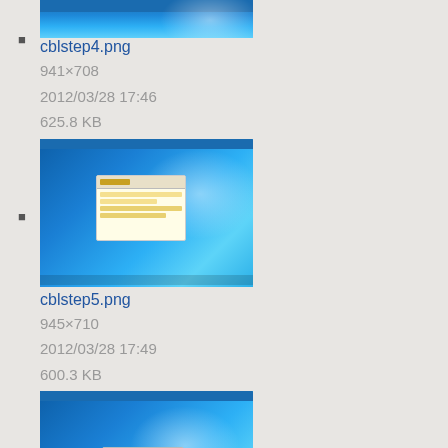cblstep4.png
941×708
2012/03/28 17:46
625.8 KB
cblstep5.png
945×710
2012/03/28 17:49
600.3 KB
cblstep6.png
948×712
2012/03/28 17:52
647.7 KB